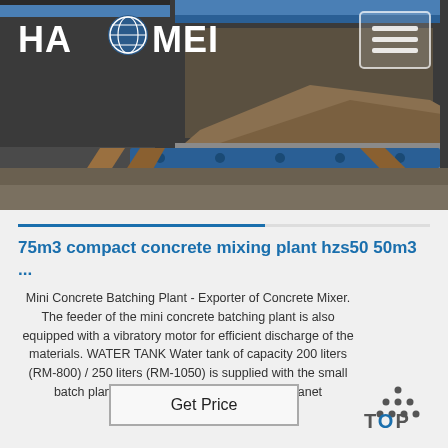[Figure (photo): Photo of a concrete batching plant inside a shipping container with ramps and aggregate material visible, with HAOMEI logo and navigation hamburger menu overlaid on top]
75m3 compact concrete mixing plant hzs50 50m3 ...
Mini Concrete Batching Plant - Exporter of Concrete Mixer. The feeder of the mini concrete batching plant is also equipped with a vibratory motor for efficient discharge of the materials. WATER TANK Water tank of capacity 200 liters (RM-800) / 250 liters (RM-1050) is supplied with the small batch plant. Concrete Plants For Sale IronPlanet
Get Price